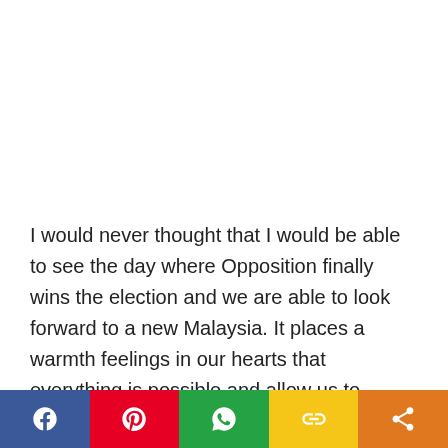I would never thought that I would be able to see the day where Opposition finally wins the election and we are able to look forward to a new Malaysia. It places a warmth feelings in our hearts that everything is possible and allow us to witness the touching power of forgiveness.
I am so touched seeing Dr M standing alongside with
[Figure (infographic): Social sharing bar with five buttons: Facebook (blue), Pinterest (red), WhatsApp (green), Copy link (yellow), Share (orange)]